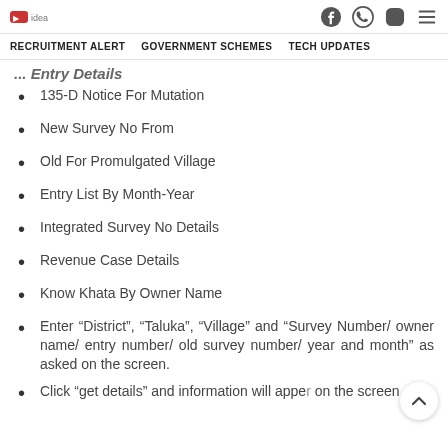[logo] | Facebook | WhatsApp | Instagram | Menu
RECRUITMENT ALERT | GOVERNMENT SCHEMES | TECH UPDATES
... Entry Details
135-D Notice For Mutation
New Survey No From
Old For Promulgated Village
Entry List By Month-Year
Integrated Survey No Details
Revenue Case Details
Know Khata By Owner Name
Enter “District”, “Taluka”, “Village” and “Survey Number/ owner name/ entry number/ old survey number/ year and month” as asked on the screen.
Click “get details” and information will appear on the screen